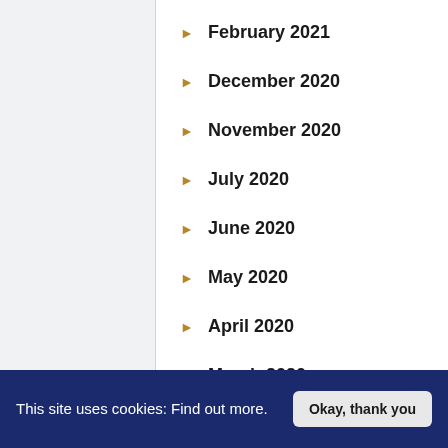February 2021
December 2020
November 2020
July 2020
June 2020
May 2020
April 2020
March 2020
This site uses cookies: Find out more.
Okay, thank you